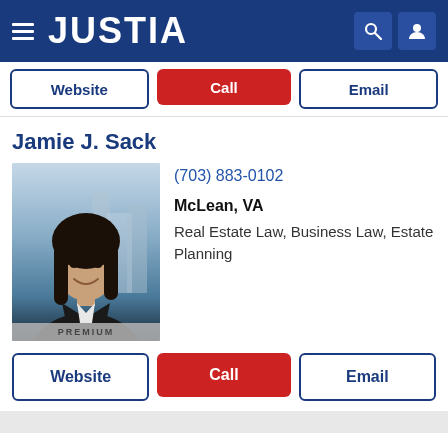JUSTIA
Website  Call  Email
Jamie J. Sack
[Figure (photo): Professional headshot of attorney Jamie J. Sack, a woman with dark hair, smiling, with PREMIUM badge at bottom]
(703) 883-0102
McLean, VA
Real Estate Law, Business Law, Estate Planning
Website  Call  Email
Justia Ask a Lawyer is a forum for consumers to get answers to basic legal questions. Any information sent through Justia Ask a Lawyer is not secure and is done so on a non-confidential basis only.
The use of this website to ask questions or receive answers